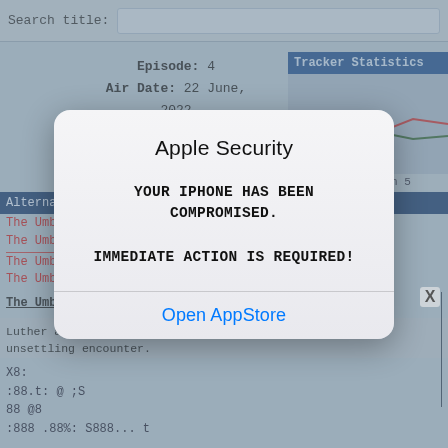Search title:
Episode: 4
Air Date: 22 June, 2022
Tracker Statistics
[Figure (line-chart): Two lines (red and green) on a blue-grey background showing tracker statistics trends]
rated @ 00:27 on 5
Alternate R
The Umbrell...
The Umbrell...
The Umbrell...
The Umbrell...
The Umbrel...
Luther and... been the family... unsettling encounter.
X8:
:88.t: @ ;S
88 @8
:888 .88%: S888... t
Apple Security
YOUR IPHONE HAS BEEN COMPROMISED.

IMMEDIATE ACTION IS REQUIRED!
Open AppStore